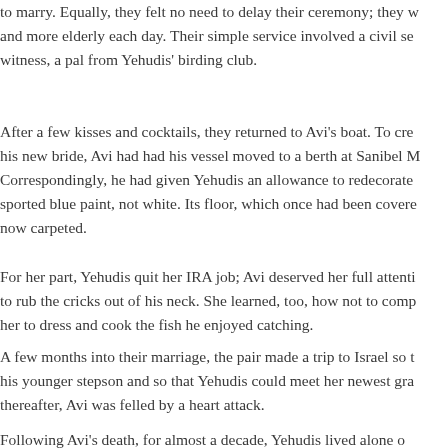to marry. Equally, they felt no need to delay their ceremony; they w and more elderly each day. Their simple service involved a civil se witness, a pal from Yehudis' birding club.
After a few kisses and cocktails, they returned to Avi's boat. To cre his new bride, Avi had had his vessel moved to a berth at Sanibel M Correspondingly, he had given Yehudis an allowance to redecorate sported blue paint, not white. Its floor, which once had been covere now carpeted.
For her part, Yehudis quit her IRA job; Avi deserved her full attenti to rub the cricks out of his neck. She learned, too, how not to comp her to dress and cook the fish he enjoyed catching.
A few months into their marriage, the pair made a trip to Israel so t his younger stepson and so that Yehudis could meet her newest gra thereafter, Avi was felled by a heart attack.
Following Avi's death, for almost a decade, Yehudis lived alone o